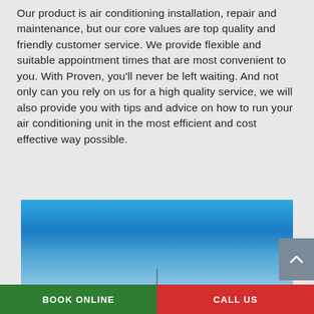Our product is air conditioning installation, repair and maintenance, but our core values are top quality and friendly customer service. We provide flexible and suitable appointment times that are most convenient to you. With Proven, you'll never be left waiting. And not only can you rely on us for a high quality service, we will also provide you with tips and advice on how to run your air conditioning unit in the most efficient and cost effective way possible.
[Figure (photo): Blue sky photograph with gradient from bright blue at top to lighter blue/white tones at bottom, with a thin vertical dark line near center bottom.]
BOOK ONLINE
CALL US